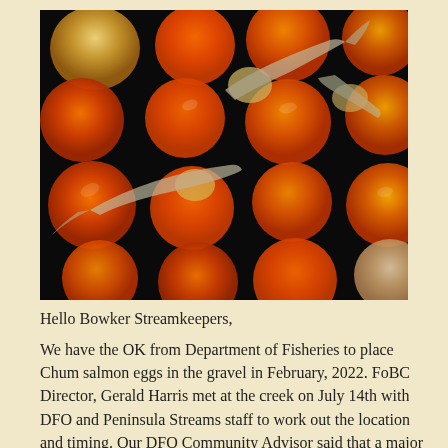[Figure (photo): Close-up photograph of salmon eggs and alevin (newly hatched salmon with yolk sacs) on a dark background. The eggs are bright orange/red, round spheres, and several alevin with visible yolk sacs and tails are visible among the eggs.]
Hello Bowker Streamkeepers,
We have the OK from Department of Fisheries to place Chum salmon eggs in the gravel in February, 2022. FoBC Director, Gerald Harris met at the creek on July 14th with DFO and Peninsula Streams staff to work out the location and timing. Our DFO Community Advisor said that a major